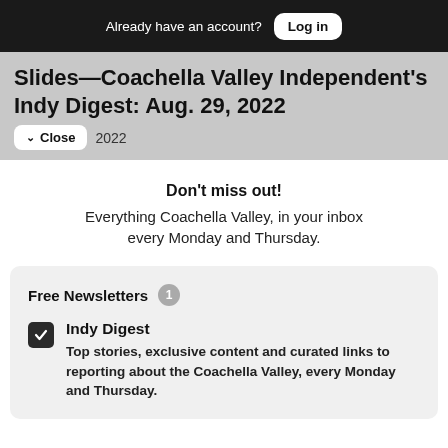Already have an account? Log in
Slides—Coachella Valley Independent's Indy Digest: Aug. 29, 2022
Close 2022
Don't miss out! Everything Coachella Valley, in your inbox every Monday and Thursday.
Free Newsletters 1
Indy Digest
Top stories, exclusive content and curated links to reporting about the Coachella Valley, every Monday and Thursday.